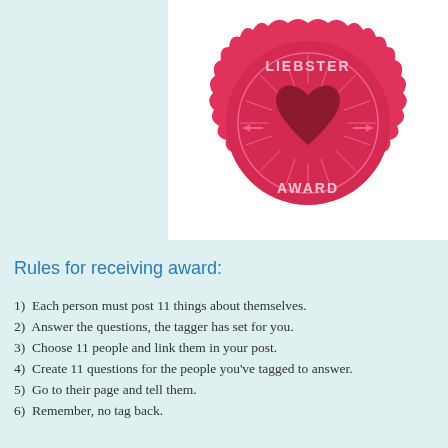[Figure (illustration): Liebster Award badge: a round pink scalloped medal with the text 'LIEBSTER' at the top and 'AWARD' at the bottom, featuring a dark red heart in the center with radiating lines and arrow decorations.]
Rules for receiving award:
1)  Each person must post 11 things about themselves.
2)  Answer the questions, the tagger has set for you.
3)  Choose 11 people and link them in your post.
4)  Create 11 questions for the people you've tagged to answer.
5)  Go to their page and tell them.
6)  Remember, no tag back.